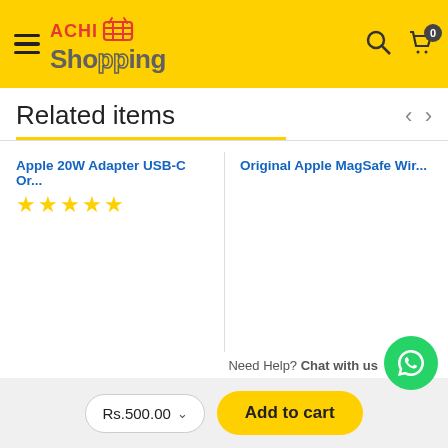[Figure (screenshot): ACHI Shopping website header with yellow background, hamburger menu, logo, search icon, and cart icon with badge showing 0]
Related items
Apple 20W Adapter USB-C Or...
★★★★★
Original Apple MagSafe Wir...
Need Help? Chat with us
Rs.500.00
Add to cart